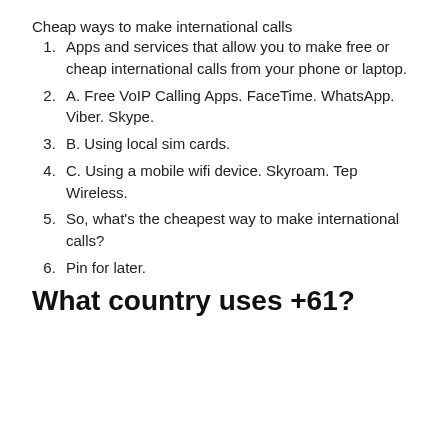Cheap ways to make international calls
Apps and services that allow you to make free or cheap international calls from your phone or laptop.
A. Free VoIP Calling Apps. FaceTime. WhatsApp. Viber. Skype.
B. Using local sim cards.
C. Using a mobile wifi device. Skyroam. Tep Wireless.
So, what's the cheapest way to make international calls?
Pin for later.
What country uses +61?